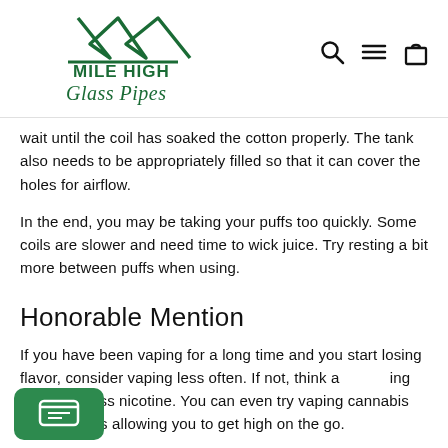[Figure (logo): Mile High Glass Pipes logo with mountain graphic and dark green text]
wait until the coil has soaked the cotton properly. The tank also needs to be appropriately filled so that it can cover the holes for airflow.
In the end, you may be taking your puffs too quickly. Some coils are slower and need time to wick juice. Try resting a bit more between puffs when using.
Honorable Mention
If you have been vaping for a long time and you start losing flavor, consider vaping less often. If not, think about using juice with less nicotine. You can even try vaping cannabis concentrates allowing you to get high on the go.